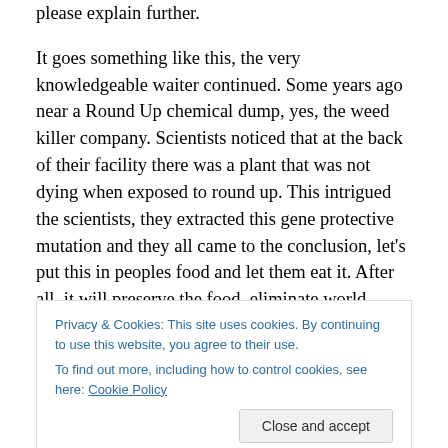please explain further.
It goes something like this, the very knowledgeable waiter continued. Some years ago near a Round Up chemical dump, yes, the weed killer company. Scientists noticed that at the back of their facility there was a plant that was not dying when exposed to round up. This intrigued the scientists, they extracted this gene protective mutation and they all came to the conclusion, let's put this in peoples food and let them eat it. After all, it will preserve the food, eliminate world poverty and we can grow plants and they
Privacy & Cookies: This site uses cookies. By continuing to use this website, you agree to their use.
To find out more, including how to control cookies, see here: Cookie Policy
the right and is chemically laden, genetically modified and